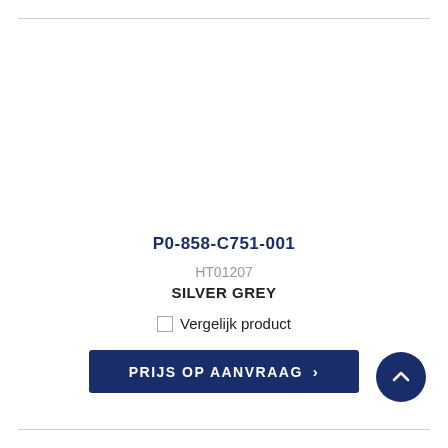P0-858-C751-001
HT01207
SILVER GREY
Vergelijk product
PRIJS OP AANVRAAG